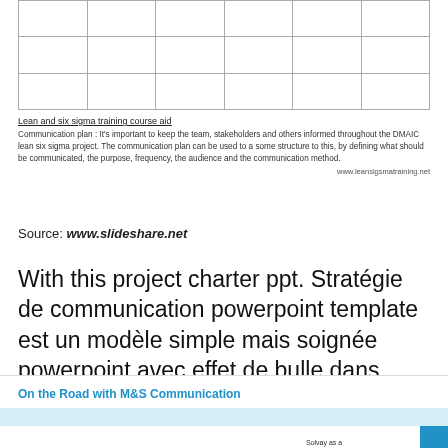|  |  |  |  |  |  |
|  |  |  |  |  |  |
|  |  |  |  |  |  |
Lean and six sigma training course aid
Communication plan : It's important to keep the team, stakeholders and others informed throughout the DMAIC lean six sigma project. The communication plan can be used to a some structure to this, by defining what should be communicated, the purpose, frequency, the audience and the communication method.
www.leansigsmatraining.net
Source: www.slideshare.net
With this project charter ppt. Stratégie de communication powerpoint template est un modèle simple mais soignée powerpoint avec effet de bulle dans l'illustration de conception et de ballons diapositive que.
On the Road with M&S Communication
Solvay as a